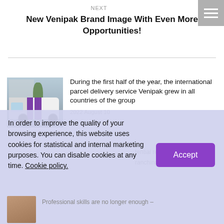NEXT
New Venipak Brand Image With Even More Opportunities!
[Figure (photo): White and purple striped Venipak delivery van parked in front of a building]
During the first half of the year, the international parcel delivery service Venipak grew in all countries of the group
2022 August 10
tential remains high,
ranching out
In order to improve the quality of your browsing experience, this website uses cookies for statistical and internal marketing purposes. You can disable cookies at any time. Cookie policy.
Professional skills are no longer enough –